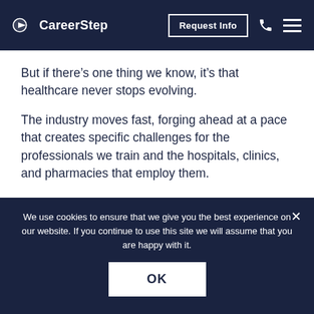CareerStep | Request Info
But if there's one thing we know, it's that healthcare never stops evolving.
The industry moves fast, forging ahead at a pace that creates specific challenges for the professionals we train and the hospitals, clinics, and pharmacies that employ them.
We use cookies to ensure that we give you the best experience on our website. If you continue to use this site we will assume that you are happy with it.